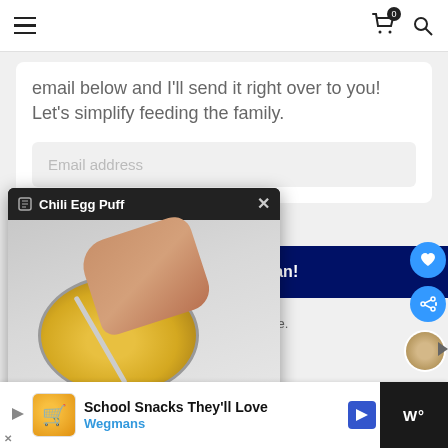[Figure (screenshot): Website navigation bar with hamburger menu on left and cart/search icons on right. Cart shows badge with 0.]
email below and I'll send it right over to you! Let's simplify feeding the family.
[Figure (screenshot): Email address input field with placeholder text 'Email address' on light gray background]
[Figure (screenshot): Video popup overlay titled 'Chili Egg Puff' showing a hand mixing ingredients in a glass bowl with beaten eggs. Built with ConvertKit shown at bottom.]
plan!
y time.
[Figure (screenshot): Bottom advertisement bar for Wegmans 'School Snacks They'll Love']